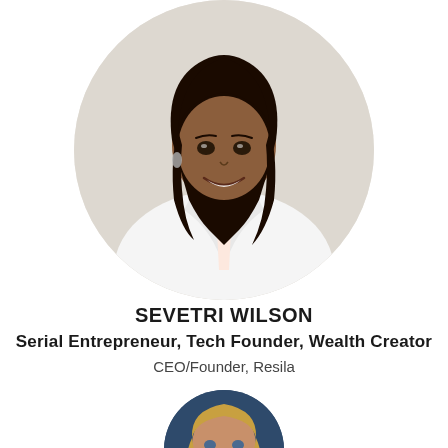[Figure (photo): Circular portrait photo of Sevetri Wilson, a young Black woman with long dark wavy hair, wearing a white blazer, smiling, against a light gray background.]
SEVETRI WILSON
Serial Entrepreneur, Tech Founder, Wealth Creator
CEO/Founder, Resila
[Figure (photo): Circular portrait photo (partially visible, cropped at bottom) of a blonde woman in professional attire against a dark navy blue background.]